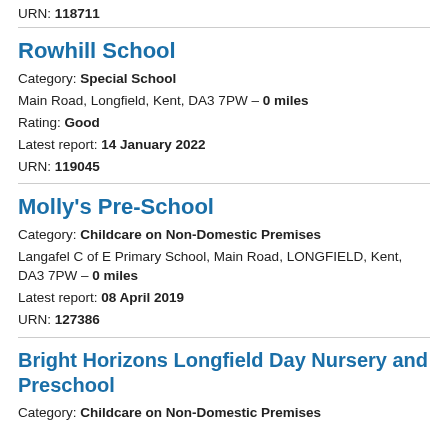URN: 118711
Rowhill School
Category: Special School
Main Road, Longfield, Kent, DA3 7PW – 0 miles
Rating: Good
Latest report: 14 January 2022
URN: 119045
Molly's Pre-School
Category: Childcare on Non-Domestic Premises
Langafel C of E Primary School, Main Road, LONGFIELD, Kent, DA3 7PW – 0 miles
Latest report: 08 April 2019
URN: 127386
Bright Horizons Longfield Day Nursery and Preschool
Category: Childcare on Non-Domestic Premises